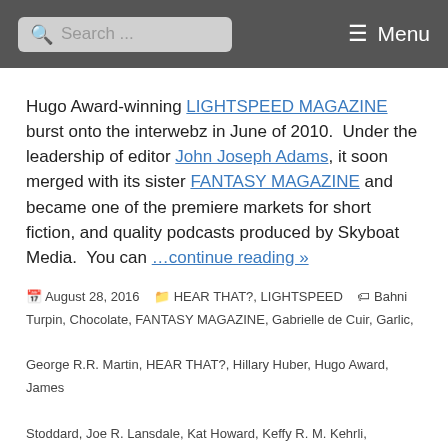Search ... Menu
Hugo Award-winning LIGHTSPEED MAGAZINE burst onto the interwebz in June of 2010.  Under the leadership of editor John Joseph Adams, it soon merged with its sister FANTASY MAGAZINE and became one of the premiere markets for short fiction, and quality podcasts produced by Skyboat Media.  You can …continue reading »
August 28, 2016  HEAR THAT?, LIGHTSPEED  Bahni Turpin, Chocolate, FANTASY MAGAZINE, Gabrielle de Cuir, Garlic, George R.R. Martin, HEAR THAT?, Hillary Huber, Hugo Award, James Stoddard, Joe R. Lansdale, Kat Howard, Keffy R. M. Kehrli, LIGHTSPEED Magazine, ...